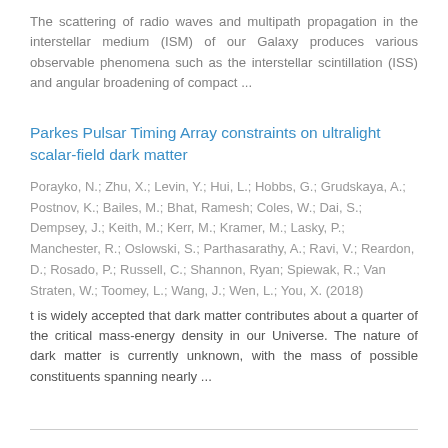The scattering of radio waves and multipath propagation in the interstellar medium (ISM) of our Galaxy produces various observable phenomena such as the interstellar scintillation (ISS) and angular broadening of compact ...
Parkes Pulsar Timing Array constraints on ultralight scalar-field dark matter
Porayko, N.; Zhu, X.; Levin, Y.; Hui, L.; Hobbs, G.; Grudskaya, A.; Postnov, K.; Bailes, M.; Bhat, Ramesh; Coles, W.; Dai, S.; Dempsey, J.; Keith, M.; Kerr, M.; Kramer, M.; Lasky, P.; Manchester, R.; Oslowski, S.; Parthasarathy, A.; Ravi, V.; Reardon, D.; Rosado, P.; Russell, C.; Shannon, Ryan; Spiewak, R.; Van Straten, W.; Toomey, L.; Wang, J.; Wen, L.; You, X. (2018)
t is widely accepted that dark matter contributes about a quarter of the critical mass-energy density in our Universe. The nature of dark matter is currently unknown, with the mass of possible constituents spanning nearly ...